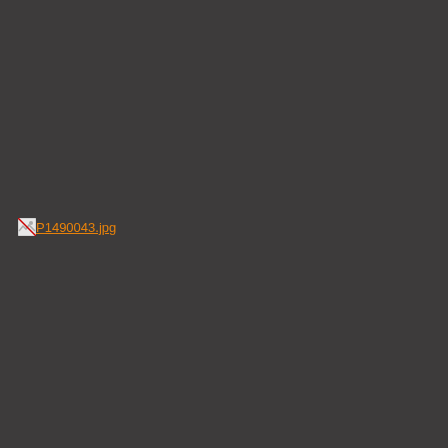[Figure (photo): Broken image placeholder showing filename P1490043.jpg with a small broken image icon, displayed on a dark gray background.]